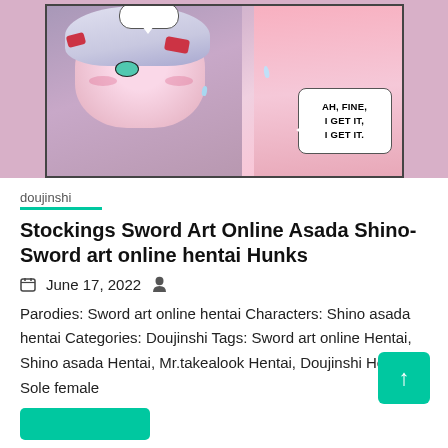[Figure (illustration): Manga/anime style illustration panel showing two characters with pink hair tones. Left character has white/silver hair with red accessories and teal eyes. Right character is mostly pink. Speech bubble at top (empty) and speech bubble on right reads 'AH, FINE, I GET IT, I GET IT.']
doujinshi
Stockings Sword Art Online Asada Shino- Sword art online hentai Hunks
June 17, 2022
Parodies: Sword art online hentai Characters: Shino asada hentai Categories: Doujinshi Tags: Sword art online Hentai, Shino asada Hentai, Mr.takealook Hentai, Doujinshi Hentai, Sole female